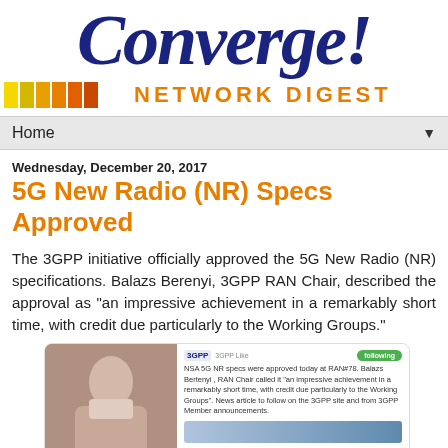[Figure (logo): Converge! Network Digest logo with italic navy blue 'Converge!' text and colored squares followed by orange 'NETWORK DIGEST' text]
Home ▼
Wednesday, December 20, 2017
5G New Radio (NR) Specs Approved
The 3GPP initiative officially approved the 5G New Radio (NR) specifications. Balazs Berenyi, 3GPP RAN Chair, described the approval as "an impressive achievement in a remarkably short time, with credit due particularly to the Working Groups."
[Figure (screenshot): Screenshot of a 3GPP tweet alongside a photo of people, tweet text reads: NSA 5G NR specs were approved today at RAN#78. Balazs Bertenyi, RAN Chair called it 'an impressive achievement in a remarkably short time, with credit due particularly to the Working Groups'. News article to follow on the 3GPP site and from 3GPP Member announcements.]